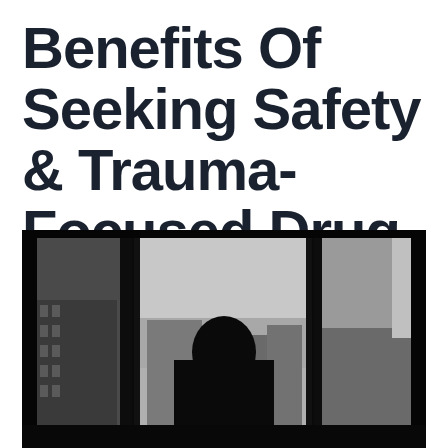Benefits Of Seeking Safety & Trauma-Focused Drug Detox
[Figure (photo): Black and white photograph of a person's silhouette standing in front of a window with a city building visible through the glass. The scene is dark with high contrast.]